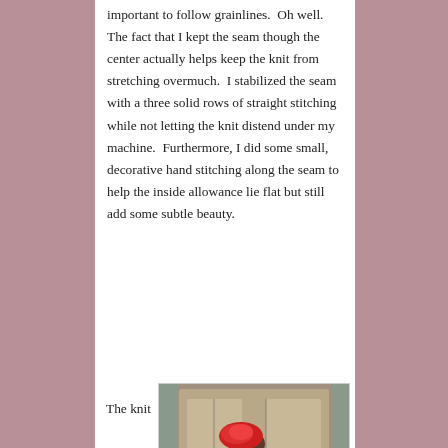important to follow grainlines.  Oh well.  The fact that I kept the seam though the center actually helps keep the knit from stretching overmuch.  I stabilized the seam with a three solid rows of straight stitching while not letting the knit distend under my machine.  Furthermore, I did some small, decorative hand stitching along the seam to help the inside allowance lie flat but still add some subtle beauty.
The knit
[Figure (photo): A person wearing a red floral knit top, blue skirt, and a red fascinator hat, standing in front of an ornate door, photographed from a side/back angle.]